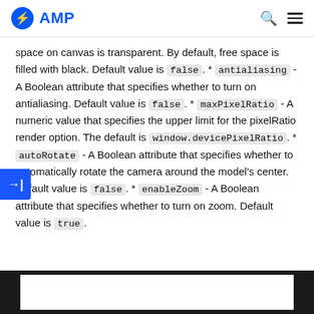AMP
space on canvas is transparent. By default, free space is filled with black. Default value is false. * antialiasing - A Boolean attribute that specifies whether to turn on antialiasing. Default value is false. * maxPixelRatio - A numeric value that specifies the upper limit for the pixelRatio render option. The default is window.devicePixelRatio. * autoRotate - A Boolean attribute that specifies whether to automatically rotate the camera around the model's center. Default value is false. * enableZoom - A Boolean attribute that specifies whether to turn on zoom. Default value is true.
[Figure (screenshot): Bottom dark frame with white inner area]